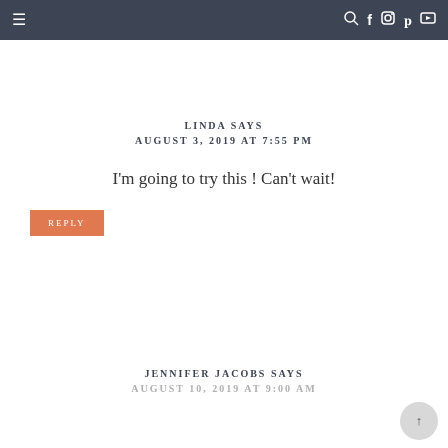≡   🔍 f 📷 p ▶
LINDA SAYS
AUGUST 3, 2019 AT 7:55 PM
I'm going to try this ! Can't wait!
REPLY
JENNIFER JACOBS SAYS
AUGUST 10, 2019 AT 9:00 AM